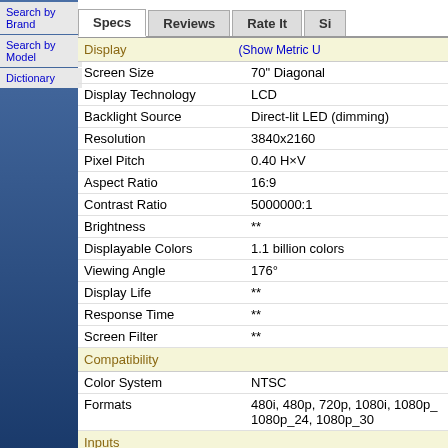Search by Brand
Search by Model
Dictionary
| Spec | Value | Location |
| --- | --- | --- |
| Display | (Show Metric U... |  |
| Screen Size | 70" Diagonal |  |
| Display Technology | LCD |  |
| Backlight Source | Direct-lit LED (dimming) |  |
| Resolution | 3840x2160 |  |
| Pixel Pitch | 0.40 H×V |  |
| Aspect Ratio | 16:9 |  |
| Contrast Ratio | 5000000:1 |  |
| Brightness | ** |  |
| Displayable Colors | 1.1 billion colors |  |
| Viewing Angle | 176° |  |
| Display Life | ** |  |
| Response Time | ** |  |
| Screen Filter | ** |  |
| Compatibility |  |  |
| Color System | NTSC |  |
| Formats | 480i, 480p, 720p, 1080i, 1080p_, 1080p_24, 1080p_30 |  |
| Inputs |  |  |
| Composite | RCA | Back |
| Component |  | Back |
| Tuner | Co-ax | Back |
| HDMI | HDMI (5 sets) | Back |
| Network | RJ-45 | Back |
| Wireless Networking | Wireless | Back |